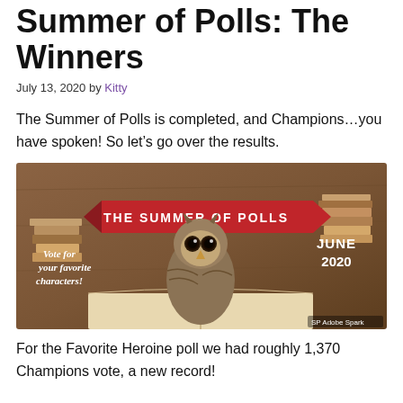Summer of Polls: The Winners
July 13, 2020 by Kitty
The Summer of Polls is completed, and Champions...you have spoken! So let’s go over the results.
[Figure (illustration): Promotional image for 'The Summer of Polls' featuring an owl sitting on an open book surrounded by stacked books. A red arrow-shaped banner reads 'THE SUMMER OF POLLS' and text reads 'Vote for your favorite characters!' with 'JUNE 2020' on the right. Adobe Spark watermark in corner.]
For the Favorite Heroine poll we had roughly 1,370 Champions vote, a new record!